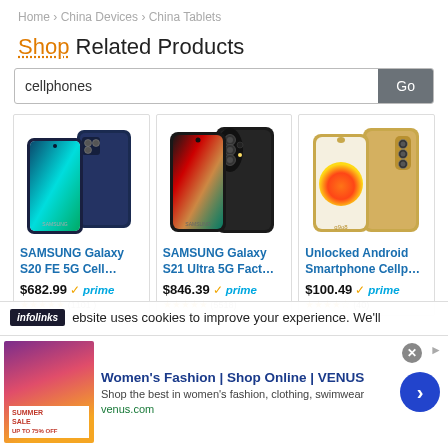Home › China Devices › China Tablets
Shop Related Products
cellphones [search box] Go
[Figure (photo): SAMSUNG Galaxy S20 FE 5G smartphone product photo (front and back, navy blue)]
SAMSUNG Galaxy S20 FE 5G Cell...
$682.99 ✓prime ★★★★★ (1101 )
[Figure (photo): SAMSUNG Galaxy S21 Ultra 5G smartphone product photo (front and back, black)]
SAMSUNG Galaxy S21 Ultra 5G Fact...
$846.39 ✓prime ★★★★★ (5518)
[Figure (photo): Unlocked Android Smartphone product photo (front and back, gold)]
Unlocked Android Smartphone Cellp...
$100.49 ✓prime ★★★★☆ (40)
infolinks  ebsite uses cookies to improve your experience. We'll
Women's Fashion | Shop Online | VENUS
Shop the best in women's fashion, clothing, swimwear
venus.com